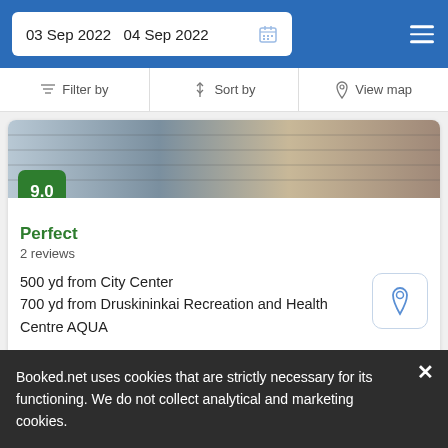03 Sep 2022   04 Sep 2022
Filter by   Sort by   View map
[Figure (photo): Hotel room or exterior photo strip]
Perfect
2 reviews
500 yd from City Center
700 yd from Druskininkai Recreation and Health Centre AQUA
Located close to Antanas Cesnulis Sculpture Park and 20 minutes' walk from Snow Arena Druskininkai, this hotel…
from  us$ 55/night
SELECT
Booked.net uses cookies that are strictly necessary for its functioning. We do not collect analytical and marketing cookies.